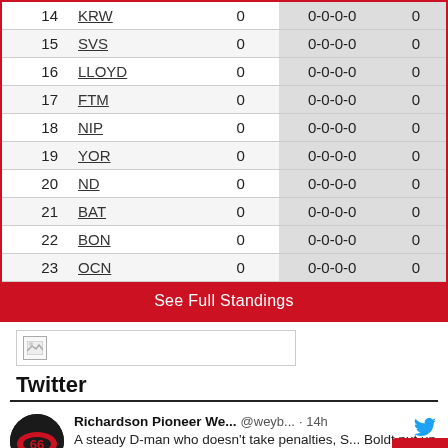| # | Team | PTS | Record | PTS |
| --- | --- | --- | --- | --- |
| 14 | KRW | 0 | 0-0-0-0 | 0 |
| 15 | SVS | 0 | 0-0-0-0 | 0 |
| 16 | LLOYD | 0 | 0-0-0-0 | 0 |
| 17 | FTM | 0 | 0-0-0-0 | 0 |
| 18 | NIP | 0 | 0-0-0-0 | 0 |
| 19 | YOR | 0 | 0-0-0-0 | 0 |
| 20 | ND | 0 | 0-0-0-0 | 0 |
| 21 | BAT | 0 | 0-0-0-0 | 0 |
| 22 | BON | 0 | 0-0-0-0 | 0 |
| 23 | OCN | 0 | 0-0-0-0 | 0 |
See Full Standings
[Figure (other): Broken image placeholder bar]
Twitter
Richardson Pioneer We... @weyb... · 14h — A steady D-man who doesn't take penalties, S... Boldt put up 6 points from the blue line last ye... split between the Merritt Centennials and the...